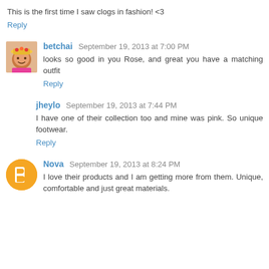This is the first time I saw clogs in fashion! <3
Reply
betchai  September 19, 2013 at 7:00 PM
looks so good in you Rose, and great you have a matching outfit
Reply
jheylo  September 19, 2013 at 7:44 PM
I have one of their collection too and mine was pink. So unique footwear.
Reply
Nova  September 19, 2013 at 8:24 PM
I love their products and I am getting more from them. Unique, comfortable and just great materials.